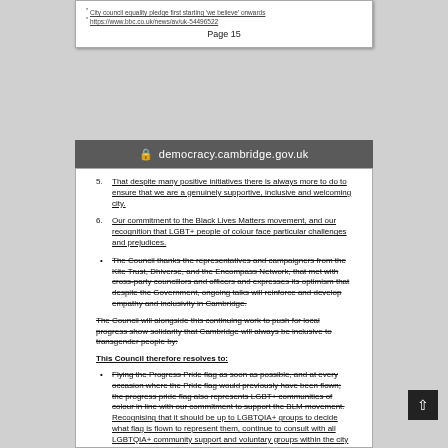* City council equality pledge first starting 'we believe' onwards
* https://www.bbc.co.uk/news/av/uk-54496522
Page 15
democracy.cambridge.gov.uk
That despite many positive initiatives there is always more to do to ensure that we are a genuinely supportive, inclusive and welcoming city.
Our commitment to the Black Lives Matters movement, and our recognition that LGBT+ people of colour face particular challenges and prejudices.
The Council thanks the representatives and campaigners from the Kite Trust, Dhiverse, and the Encompass Network, that met with cross-party councillors and officers and expresses its optimism that despite the Government, ongoing talks will reinforce and develop empathy and inclusivity in Cambridge.
The Council will alongside this continuing work to push for local progress show solidarity that Cambridge will always be inclusive to transgender people by:
This Council therefore resolves to:
Flying the Progress Pride flag as soon as possible, and at every occasion where the Pride flag would previously have been flown; the progress pride flag also represents LGBT+ communities of colour in line with our commitment to support the BLM movement. Recognising that it should be up to LGBTQIA+ groups to decide what flag is flown to represent them, continue to consult with all LGBTQIA+ community support and voluntary groups within the city about flying the Progress Pride Flag, at every occasion where the